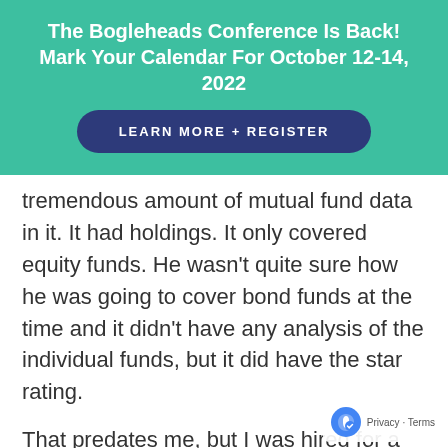The Bogleheads Conference Is Back! Mark Your Calendar For October 12-14, 2022
LEARN MORE + REGISTER
tremendous amount of mutual fund data in it. It had holdings. It only covered equity funds. He wasn't quite sure how he was going to cover bond funds at the time and it didn't have any analysis of the individual funds, but it did have the star rating.
That predates me, but I was hired for a second publication that Joe wanted to do and it's the one that you were probably more familiar with. And it had the one page